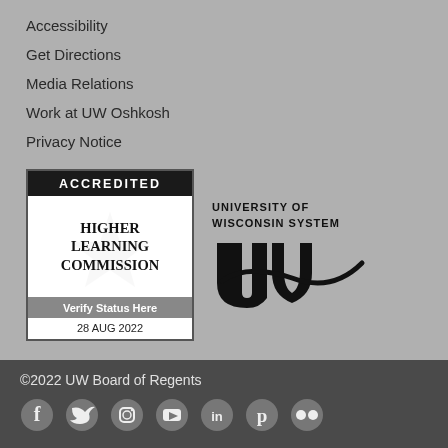Accessibility
Get Directions
Media Relations
Work at UW Oshkosh
Privacy Notice
[Figure (logo): Higher Learning Commission Accredited badge with 'Verify Status Here' and '28 AUG 2022']
[Figure (logo): University of Wisconsin System UW logo]
©2022 UW Board of Regents
[Figure (other): Social media icons: Facebook, Twitter, Instagram, YouTube, LinkedIn, Pinterest, Flickr]